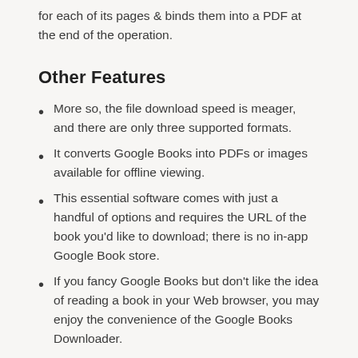for each of its pages & binds them into a PDF at the end of the operation.
Other Features
More so, the file download speed is meager, and there are only three supported formats.
It converts Google Books into PDFs or images available for offline viewing.
This essential software comes with just a handful of options and requires the URL of the book you'd like to download; there is no in-app Google Book store.
If you fancy Google Books but don't like the idea of reading a book in your Web browser, you may enjoy the convenience of the Google Books Downloader.